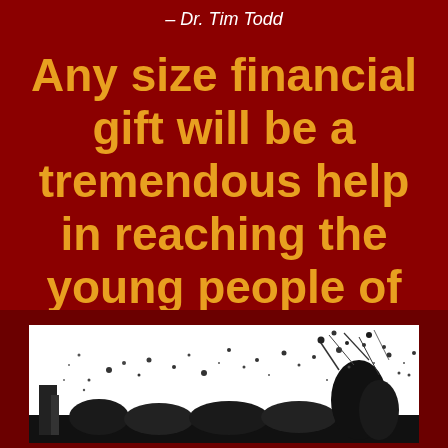– Dr. Tim Todd
Any size financial gift will be a tremendous help in reaching the young people of Cuba!
[Figure (photo): Black and white photograph of a crowd of young people, with ink splash/splatter overlay effect]